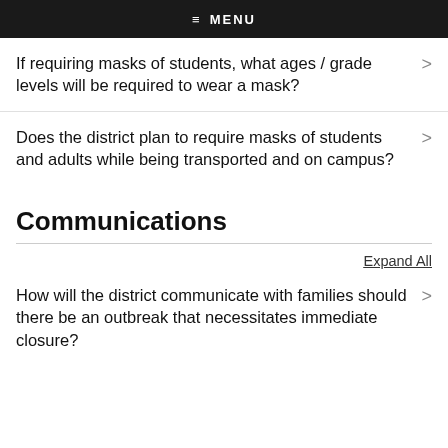≡ MENU
If requiring masks of students, what ages / grade levels will be required to wear a mask?
Does the district plan to require masks of students and adults while being transported and on campus?
Communications
Expand All
How will the district communicate with families should there be an outbreak that necessitates immediate closure?